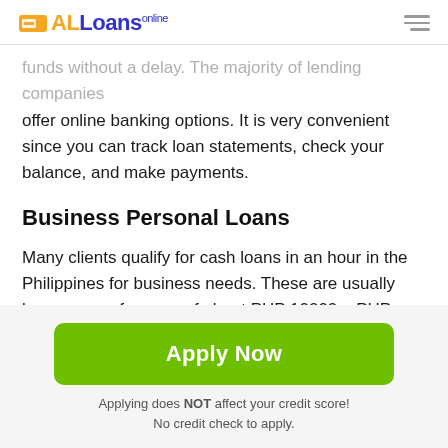ALLoans online
funds without a delay. The majority of lending companies offer online banking options. It is very convenient since you can track loan statements, check your balance, and make payments.
Business Personal Loans
Many clients qualify for cash loans in an hour in the Philippines for business needs. These are usually large sums of money of about PHP 10000 – PHP 100000. The company gives money only for business needs and sets relatively moderate interest rates. Business loans usually
Apply Now
Applying does NOT affect your credit score!
No credit check to apply.